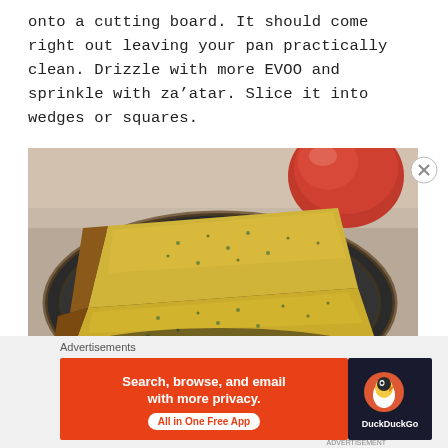onto a cutting board. It should come right out leaving your pan practically clean. Drizzle with more EVOO and sprinkle with za'atar. Slice it into wedges or squares.
[Figure (photo): Photo of two wedge-shaped slices of baked flatbread or socca topped with herbs (za'atar), served on a dark round plate. A red apple is visible in the background on a marble-like countertop.]
Advertisements
[Figure (other): DuckDuckGo advertisement banner: orange/red background with text 'Search, browse, and email with more privacy. All in One Free App' and DuckDuckGo logo on dark background.]